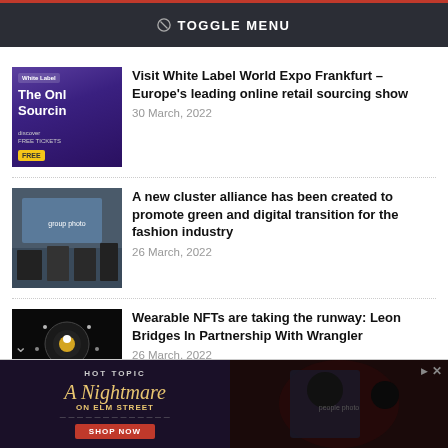TOGGLE MENU
Visit White Label World Expo Frankfurt – Europe's leading online retail sourcing show
30 March, 2022
A new cluster alliance has been created to promote green and digital transition for the fashion industry
26 March, 2022
Wearable NFTs are taking the runway: Leon Bridges In Partnership With Wrangler
26 March, 2022
[Figure (advertisement): Hot Topic ad for A Nightmare on Elm Street with Shop Now button]